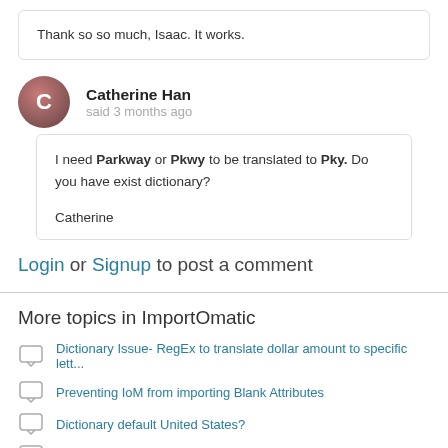Thank so so much, Isaac. It works.
Catherine Han
said 3 months ago
I need Parkway or Pkwy to be translated to Pky. Do you have exist dictionary?

Catherine
Login or Signup to post a comment
More topics in ImportOmatic
Dictionary Issue- RegEx to translate dollar amount to specific lett...
Preventing IoM from importing Blank Attributes
Dictionary default United States?
How to not add a gift attribute if the import cell is blank
RegEx to remove leading characters